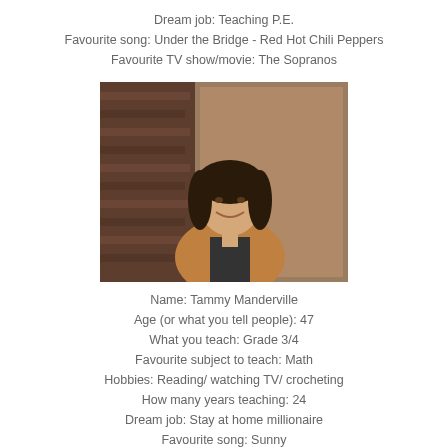Dream job: Teaching P.E.
Favourite song: Under the Bridge - Red Hot Chili Peppers
Favourite TV show/movie: The Sopranos
[Figure (photo): A woman with dark hair wearing a tan/brown cardigan, smiling at the camera, standing in front of a brick wall and a brown door.]
Name: Tammy Manderville
Age (or what you tell people): 47
What you teach: Grade 3/4
Favourite subject to teach: Math
Hobbies: Reading/ watching TV/ crocheting
How many years teaching: 24
Dream job: Stay at home millionaire
Favourite song: Sunny
Favourite TV show/movie: Coronation Street